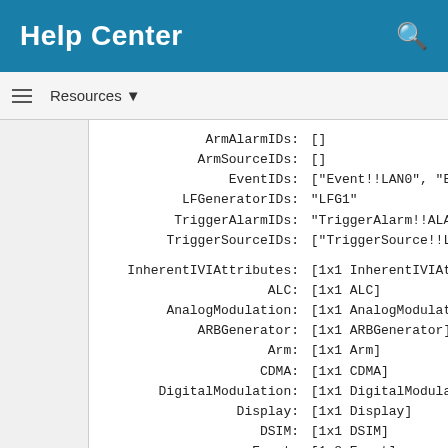Help Center
Resources ▼
ArmAlarmIDs: []
ArmSourceIDs: []
EventIDs: ["Event!!LAN0", "Eve
LFGeneratorIDs: "LFG1"
TriggerAlarmIDs: "TriggerAlarm!!ALAR
TriggerSourceIDs: ["TriggerSource!!LA

InherentIVIAttributes: [1x1 InherentIVIAtt
ALC: [1x1 ALC]
AnalogModulation: [1x1 AnalogModulati
ARBGenerator: [1x1 ARBGenerator]
Arm: [1x1 Arm]
CDMA: [1x1 CDMA]
DigitalModulation: [1x1 DigitalModulat
Display: [1x1 Display]
DSIM: [1x1 DSIM]
Event: [1x8 Event]
EventLog: [1x1 EventLog]
IO: [1x1 IO]